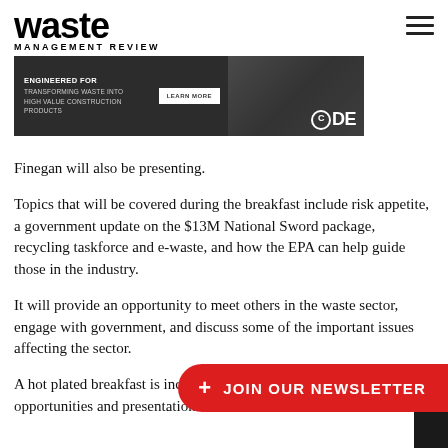waste MANAGEMENT REVIEW
[Figure (photo): CDE advertisement banner: dark background with gravel/construction materials, worker in yellow high-vis vest, 'ENGINEERED FOR TRANSFORMING WASTE INTO HIGH VALUE CONSTRUCTION PRODUCTS' text, LEARN MORE button, CDE logo]
Finegan will also be presenting.
Topics that will be covered during the breakfast include risk appetite, a government update on the $13M National Sword package, recycling taskforce and e-waste, and how the EPA can help guide those in the industry.
It will provide an opportunity to meet others in the waste sector, engage with government, and discuss some of the important issues affecting the sector.
A hot plated breakfast is inc… opportunities and presentations.
[Figure (other): Red pill-shaped JOIN OUR NEWSLETTER button with white plus icon and text]